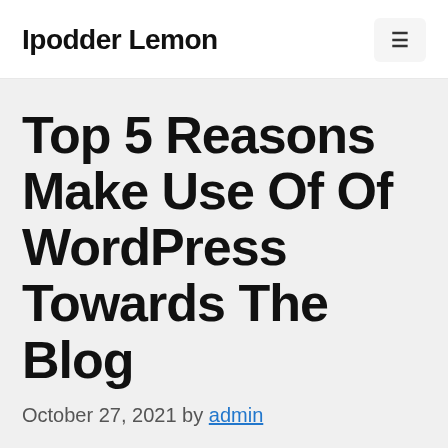Ipodder Lemon
Top 5 Reasons Make Use Of Of WordPress Towards The Blog
October 27, 2021 by admin
The very first thing you must know is that